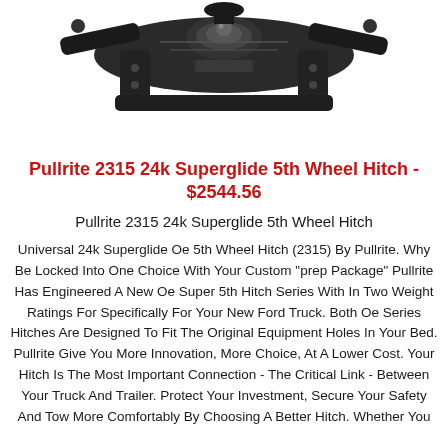[Figure (photo): Pullrite 2315 24k Superglide 5th Wheel Hitch product image showing black metal hitch mechanism viewed from above]
Pullrite 2315 24k Superglide 5th Wheel Hitch - $2544.56
Pullrite 2315 24k Superglide 5th Wheel Hitch
Universal 24k Superglide Oe 5th Wheel Hitch (2315) By Pullrite. Why Be Locked Into One Choice With Your Custom "prep Package" Pullrite Has Engineered A New Oe Super 5th Hitch Series With In Two Weight Ratings For Specifically For Your New Ford Truck. Both Oe Series Hitches Are Designed To Fit The Original Equipment Holes In Your Bed. Pullrite Give You More Innovation, More Choice, At A Lower Cost. Your Hitch Is The Most Important Connection - The Critical Link - Between Your Truck And Trailer. Protect Your Investment, Secure Your Safety And Tow More Comfortably By Choosing A Better Hitch. Whether You